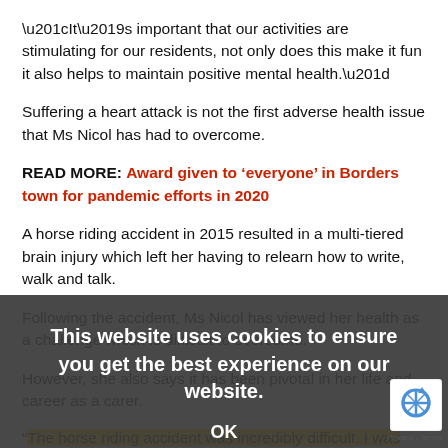“It’s important that our activities are stimulating for our residents, not only does this make it fun it also helps to maintain positive mental health.”
Suffering a heart attack is not the first adverse health issue that Ms Nicol has had to overcome.
READ MORE: Award given to ‘everyone’ in Borders town for pandemic efforts in 2020
A horse riding accident in 2015 resulted in a multi-tiered brain injury which left her having to relearn how to write, walk and talk.
Following the accident, Ms Nicol has viewed her health as a challenge which is difficult to overcome.
However, she also says it has been pivotal in her life and career as a carer.
“The horse riding accident was incredibly difficult. I was stood on and dragged for some time.
“Of course, it wasn’t the horse’s fault – it was an unfortunate accident,” she said.
This website uses cookies to ensure you get the best experience on our website.